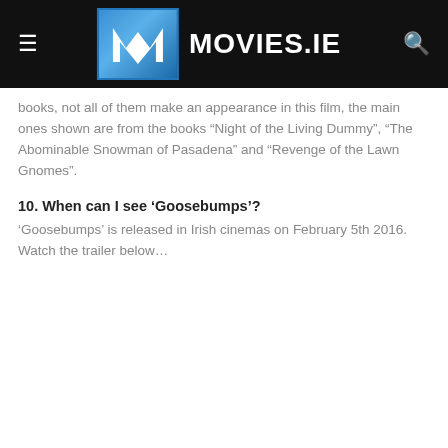MOVIES.IE
books, not all of them make an appearance in this film, the main ones shown are from the books “Night of the Living Dummy”, “The Abominable Snowman of Pasadena” and “Revenge of the Lawn Gnomes”.
10. When can I see ‘Goosebumps’?
‘Goosebumps’ is released in Irish cinemas on February 5th 2016. Watch the trailer below…